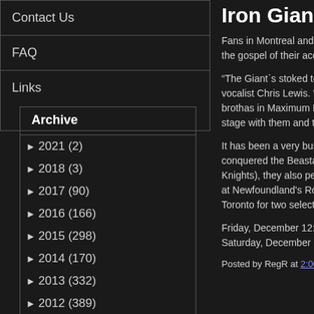Contact Us
FAQ
Links
Archive
► 2021 (2)
► 2018 (3)
► 2017 (90)
► 2016 (166)
► 2015 (298)
► 2014 (170)
► 2013 (332)
► 2012 (389)
► 2011 (502)
► 2010 (306)
► 2009 (349)
Iron Giant Attac
Fans in Montreal and Toro the gospel of their acclaime
“The Giant`s stoked to get vocalist Chris Lewis. “It`s b brothas in Maximum R`n`R stage with them and the Ba
It has been a very busy fall conquered the Beastage in Knights), they also perform at Newfoundland's Rock C Toronto for two select date
Friday, December 12: Mon Saturday, December 13: To
Posted by RegR at 2:00:00